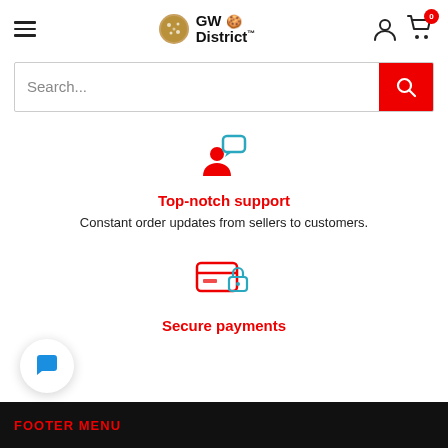[Figure (logo): GW District logo with cookie/snowflake icon and bold text 'GW District']
Search...
[Figure (illustration): Person with speech bubble icon in red and teal colors]
Top-notch support
Constant order updates from sellers to customers.
[Figure (illustration): Secured payment / lock on card icon in red and teal colors]
Secure payments
FOOTER MENU